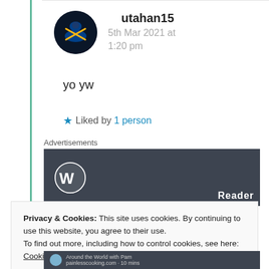utahan15
5th Mar 2021 at 1:20 pm
yo yw
★ Liked by 1 person
Advertisements
[Figure (screenshot): WordPress advertisement banner with WordPress logo and partial text 'Reader']
Privacy & Cookies: This site uses cookies. By continuing to use this website, you agree to their use. To find out more, including how to control cookies, see here: Cookie Policy
Close and accept